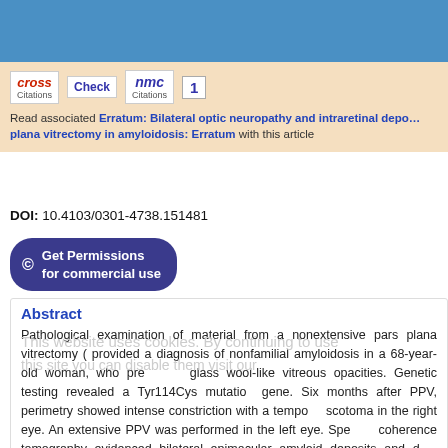[Figure (screenshot): CrossRef citation badge, Check badge, NMC citations badge, and number 1 badge on peach/tan background]
Read associated Erratum: Bilateral optic neuropathy and intraretinal deposits treated with pars plana vitrectomy in amyloidosis: Erratum with this article
DOI: 10.4103/0301-4738.151481
Get Permissions for commercial use
Abstract
This website uses cookies. By continuing to use this site you can disable them visit our
Pathological examination of material from a nonextensive pars plana vitrectomy (provided a diagnosis of nonfamilial amyloidosis in a 68-year-old woman, who presented with glass wool-like vitreous opacities. Genetic testing revealed a Tyr114Cys mutation in the gene. Six months after PPV, perimetry showed intense constriction with a temporal scotoma in the right eye. An extensive PPV was performed in the left eye. Spectral coherence tomography evidenced bilateral epimacular amyloid deposits and dark spots within the inner retina. One year later, visual acuity had decreased to 20/40, with mild vitreous opacity, pale cupped optic disc and inferior altitudinal field defect. intraocular pressure, transiently increased after PPV, never exceeded 16 mmHg. The patient presented optic nerve blood supply impairment, due to amyloidosis, causing atrophy. Epiretinal and intraretinal deposit detection could aid in diagnosing patients.